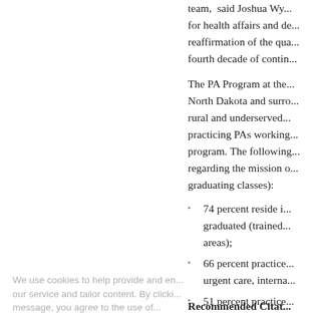team, said Joshua Wy... for health affairs and de... reaffirmation of the qua... fourth decade of contin...
The PA Program at the... North Dakota and surro... rural and underserved... practicing PAs working... program. The following... regarding the mission o... graduating classes):
74 percent reside i... graduated (trained... areas);
66 percent practice... urgent care, interna...
51 percent practice... population).
We use cookies to help provide and en... our service and tailor content. By clicki... message, you agree to the use of...
Recommended Citat...